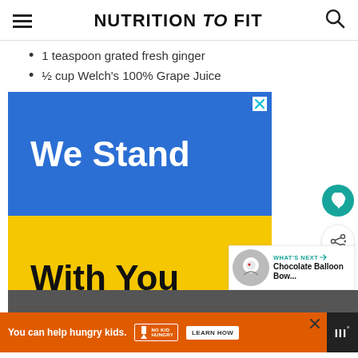NUTRITION to FIT
1 teaspoon grated fresh ginger
½ cup Welch's 100% Grape Juice
[Figure (other): Advertisement banner - Ukrainian flag colors (blue and yellow) with text 'We Stand With You']
[Figure (other): WHAT'S NEXT promo card - Chocolate Balloon Bow... with circular food photo]
[Figure (other): Bottom advertisement bar - No Kid Hungry orange banner: 'You can help hungry kids. LEARN HOW']